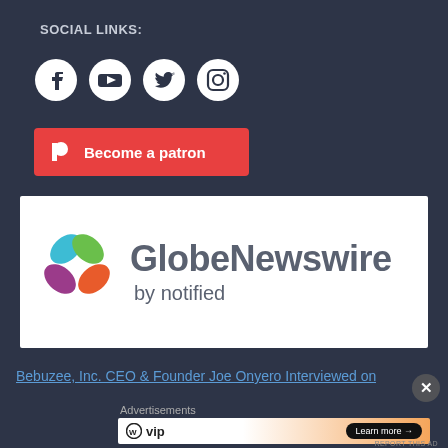SOCIAL LINKS:
[Figure (illustration): Four social media icons: Facebook, YouTube, Twitter, Instagram]
[Figure (illustration): Patreon button - red button with Patreon icon and text 'Become a patron']
[Figure (logo): GlobeNewswire by notified logo - white banner with colored butterfly/flower logo and grey text]
Bebuzee, Inc. CEO & Founder Joe Onyero Interviewed on
Advertisements
[Figure (illustration): Advertisement banner: WP VIP with Learn more button and orange gradient background]